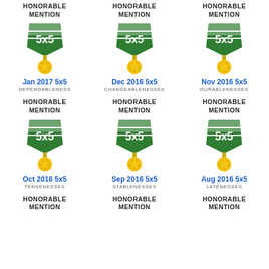[Figure (illustration): Green and white 5x5 medal badge with gold star medallion - Jan 2017]
Jan 2017 5x5
DEPENDABLENESS
[Figure (illustration): Green and white 5x5 medal badge with gold star medallion - Dec 2016]
Dec 2016 5x5
CHANGEABLENESSES
[Figure (illustration): Green and white 5x5 medal badge with gold star medallion - Nov 2016]
Nov 2016 5x5
DURABLENESSES
[Figure (illustration): Green and white 5x5 medal badge with gold star medallion - Oct 2016]
Oct 2016 5x5
TENSENESSES
[Figure (illustration): Green and white 5x5 medal badge with gold star medallion - Sep 2016]
Sep 2016 5x5
STABLENESSES
[Figure (illustration): Green and white 5x5 medal badge with gold star medallion - Aug 2016]
Aug 2016 5x5
LATENESSES